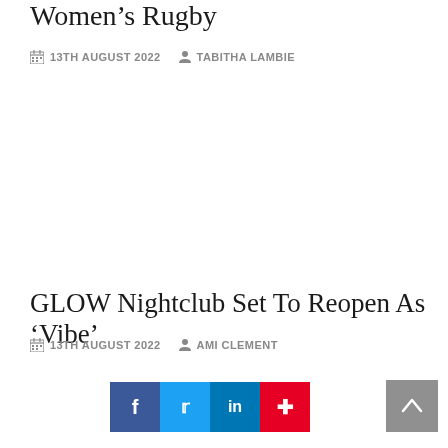Women’s Rugby
13TH AUGUST 2022   TABITHA LAMBIE
GLOW Nightclub Set To Reopen As ‘Vibe’
13TH AUGUST 2022   AMI CLEMENT
[Figure (other): Social share buttons: Facebook, Twitter, LinkedIn, Pinterest; and a scroll-to-top button]